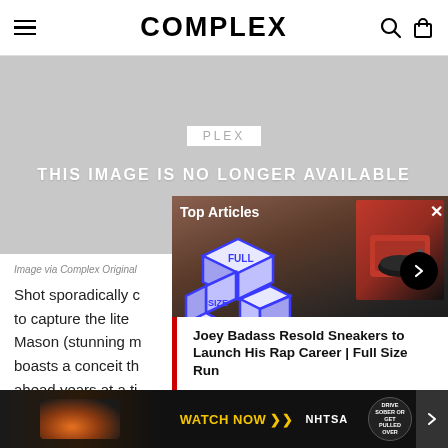COMPLEX
[Figure (screenshot): Gray placeholder showing 'THIS IMAGE IS NO LONGER AVAILABLE' with PLEX label above]
Image via Complex Original
Shot sporadically c... to capture the lite... Mason (stunning m... boasts a conceit th... ahead years at a ti... cuts Rich... on to
[Figure (screenshot): Overlay panel showing 'Top Articles' with Full Size Run logo, person photo, Joey Badass article card, and NHTSA WATCH NOW ad at bottom]